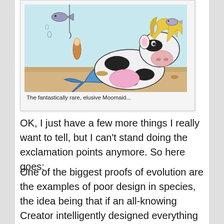[Figure (illustration): Comic cartoon illustration of a 'Moomaid' - a cow with a mermaid fish tail, lying on an underwater sea floor with fish swimming around it, with yellow flowing hair.]
The fantastically rare, elusive Moomaid...
OK, I just have a few more things I really want to tell, but I can't stand doing the exclamation points anymore. So here goes:
One of the biggest proofs of evolution are the examples of poor design in species, the idea being that if an all-knowing Creator intelligently designed everything from scratch, everything would be designed better. In humans, these include things like the appendix, wisdom teeth and the muscles that move the ears, all of which are useless, or that the testes are formed inside the abdomen, and